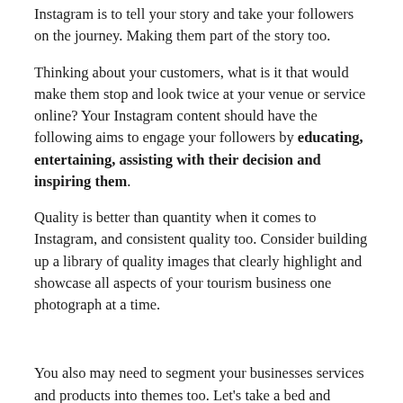Instagram is to tell your story and take your followers on the journey. Making them part of the story too.
Thinking about your customers, what is it that would make them stop and look twice at your venue or service online? Your Instagram content should have the following aims to engage your followers by educating, entertaining, assisting with their decision and inspiring them.
Quality is better than quantity when it comes to Instagram, and consistent quality too. Consider building up a library of quality images that clearly highlight and showcase all aspects of your tourism business one photograph at a time.
You also may need to segment your businesses services and products into themes too. Let's take a bed and